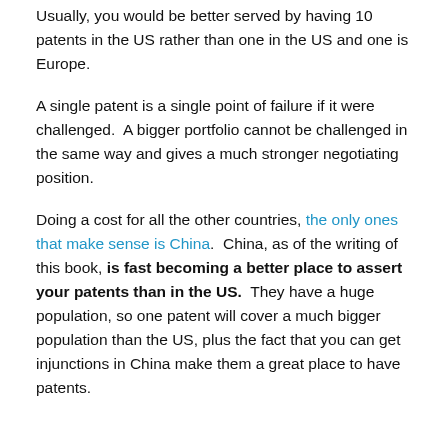Usually, you would be better served by having 10 patents in the US rather than one in the US and one is Europe.
A single patent is a single point of failure if it were challenged. A bigger portfolio cannot be challenged in the same way and gives a much stronger negotiating position.
Doing a cost for all the other countries, the only ones that make sense is China. China, as of the writing of this book, is fast becoming a better place to assert your patents than in the US. They have a huge population, so one patent will cover a much bigger population than the US, plus the fact that you can get injunctions in China make them a great place to have patents.